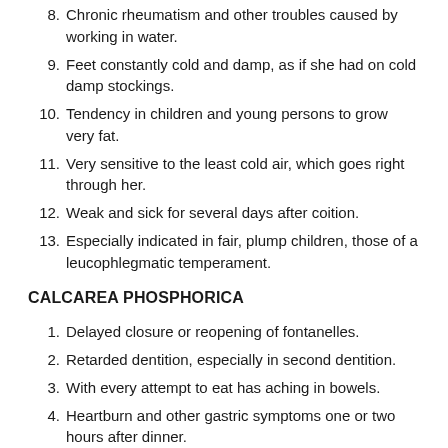8. Chronic rheumatism and other troubles caused by working in water.
9. Feet constantly cold and damp, as if she had on cold damp stockings.
10. Tendency in children and young persons to grow very fat.
11. Very sensitive to the least cold air, which goes right through her.
12. Weak and sick for several days after coition.
13. Especially indicated in fair, plump children, those of a leucophlegmatic temperament.
CALCAREA PHOSPHORICA
1. Delayed closure or reopening of fontanelles.
2. Retarded dentition, especially in second dentition.
3. With every attempt to eat has aching in bowels.
4. Heartburn and other gastric symptoms one or two hours after dinner.
5. Sacro-iliac symphis is sore, as if separated or broken.